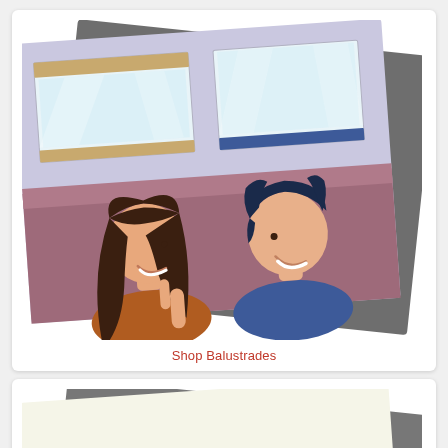[Figure (illustration): Flat style illustration of two people (a woman with long dark hair and a man with dark blue hair) sitting facing each other, with windows visible behind them, shown as if displayed on overlapping tilted cards/slides.]
Shop Balustrades
[Figure (illustration): Partially visible second card/slide illustration, showing only the top corner — appears to be a light-colored background with dark corner element, similar overlapping card style.]